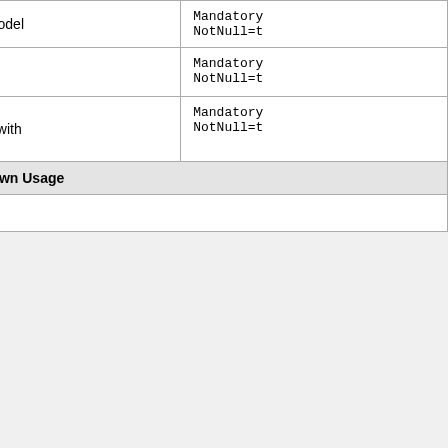| Name | Type | Description | Attributes |
| --- | --- | --- | --- |
| model | String | CPU Model | Mandatory
NotNull=t |
| vendor | String | CPU Vendor | Mandatory
NotNull=t |
| clockSpeed | String | Clock Speed with the unit | Mandatory
NotNull=t |
| Known Usage |  |  |  |
| Hosting Node consistsOf 1..n CPU Facet: |  |  |  |
Descriptive Metadata Facet
Descriptive Metadata Facet extends Face
| This facet captures information on descriptive metadata to be associated with teh resource |
| Properties |
| Name | Type | Description | Attributes |
|  |  | A metadata record representing the description |  |